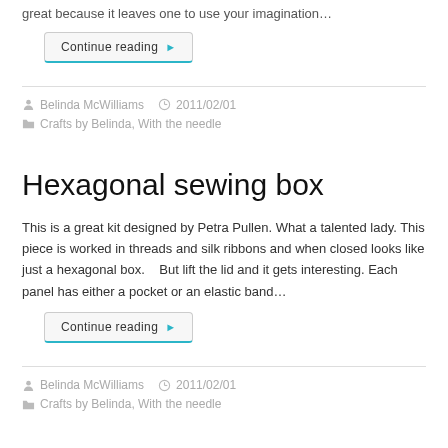great because it leaves one to use your imagination…
Continue reading
Belinda McWilliams   2011/02/01
Crafts by Belinda, With the needle
Hexagonal sewing box
This is a great kit designed by Petra Pullen. What a talented lady. This piece is worked in threads and silk ribbons and when closed looks like just a hexagonal box.    But lift the lid and it gets interesting. Each panel has either a pocket or an elastic band…
Continue reading
Belinda McWilliams   2011/02/01
Crafts by Belinda, With the needle